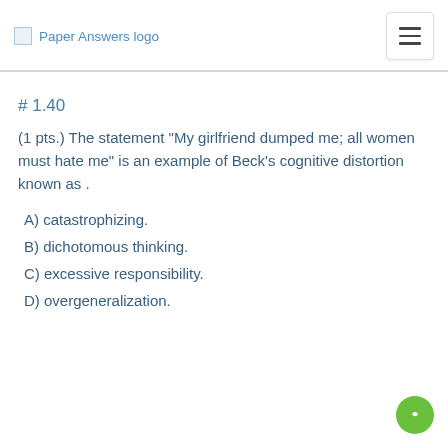Paper Answers logo
# 1.40
(1 pts.) The statement "My girlfriend dumped me; all women must hate me" is an example of Beck's cognitive distortion known as .
A) catastrophizing.
B) dichotomous thinking.
C) excessive responsibility.
D) overgeneralization.